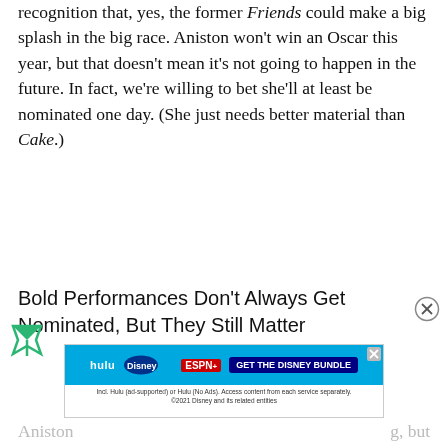recognition that, yes, the former Friends could make a big splash in the big race. Aniston won't win an Oscar this year, but that doesn't mean it's not going to happen in the future. In fact, we're willing to bet she'll at least be nominated one day. (She just needs better material than Cake.)
Bold Performances Don't Always Get Nominated, But They Still Matter
[Figure (other): Freestar advertising icon (triangle/funnel logo) at bottom left]
[Figure (other): Close (X) button circle at bottom right for ad dismissal]
[Figure (other): Disney Bundle advertisement banner: Hulu, Disney+, ESPN+ logos with 'GET THE DISNEY BUNDLE' button and fine print '©2021 Disney and its related entities']
Aniston … g, but